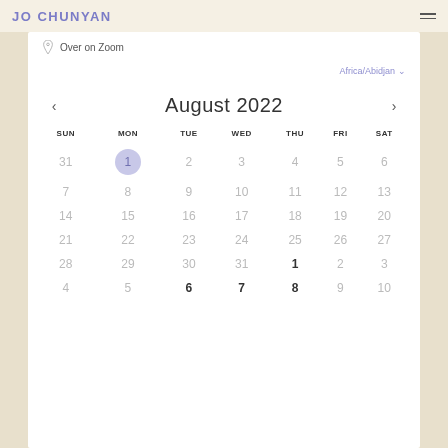JO CHUNYAN
Over on Zoom
Africa/Abidjan
[Figure (other): August 2022 calendar widget showing a monthly calendar view with navigation arrows. Day 1 is highlighted with a light purple circle. Days 1 and 2 of the next month (September) and days 6, 7, 8 of September are shown in bold. Day columns labeled SUN, MON, TUE, WED, THU, FRI, SAT.]